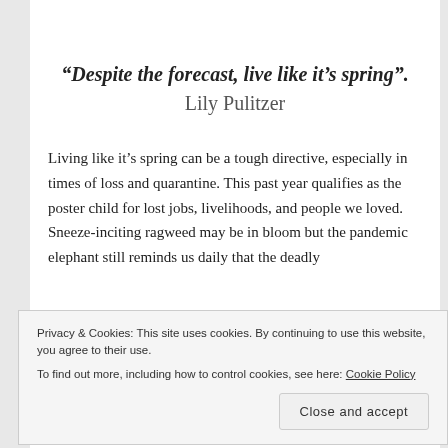“Despite the forecast, live like it’s spring”. Lily Pulitzer
Living like it’s spring can be a tough directive, especially in times of loss and quarantine. This past year qualifies as the poster child for lost jobs, livelihoods, and people we loved. Sneeze-inciting ragweed may be in bloom but the pandemic elephant still reminds us daily that the deadly
Privacy & Cookies: This site uses cookies. By continuing to use this website, you agree to their use. To find out more, including how to control cookies, see here: Cookie Policy
Close and accept
every season, inevitably goes on even if it might not be the